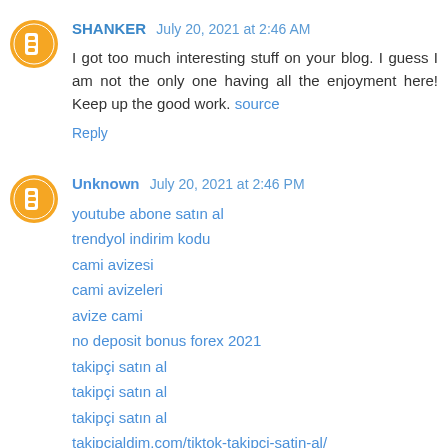SHANKER  July 20, 2021 at 2:46 AM
I got too much interesting stuff on your blog. I guess I am not the only one having all the enjoyment here! Keep up the good work. source
Reply
Unknown  July 20, 2021 at 2:46 PM
youtube abone satın al
trendyol indirim kodu
cami avizesi
cami avizeleri
avize cami
no deposit bonus forex 2021
takipçi satın al
takipçi satın al
takipçi satın al
takipcialdim.com/tiktok-takipci-satin-al/
instagram beğeni satın al
instagram beğeni satın al